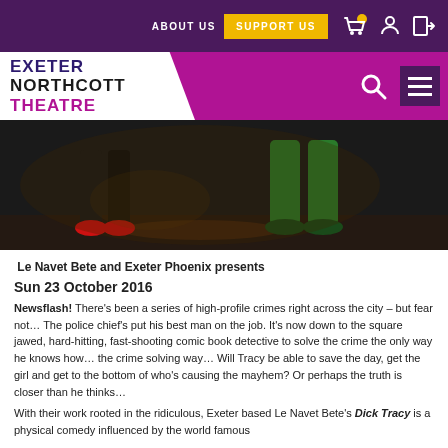ABOUT US | SUPPORT US
[Figure (logo): Exeter Northcott Theatre logo in white background with purple theatre name]
[Figure (photo): Two performers on stage, one in black trousers with red shoes, one in green trousers with green shoes, seated/crouching on a dark stage]
Le Navet Bete and Exeter Phoenix presents
Sun 23 October 2016
Newsflash! There's been a series of high-profile crimes right across the city – but fear not… The police chief's put his best man on the job. It's now down to the square jawed, hard-hitting, fast-shooting comic book detective to solve the crime the only way he knows how… the crime solving way… Will Tracy be able to save the day, get the girl and get to the bottom of who's causing the mayhem? Or perhaps the truth is closer than he thinks…
With their work rooted in the ridiculous, Exeter based Le Navet Bete's Dick Tracy is a physical comedy influenced by the world famous…